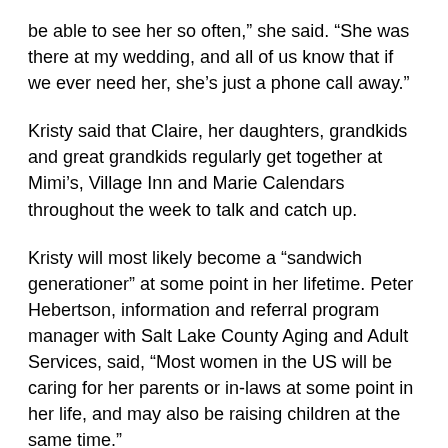be able to see her so often,” she said. “She was there at my wedding, and all of us know that if we ever need her, she’s just a phone call away.”
Kristy said that Claire, her daughters, grandkids and great grandkids regularly get together at Mimi’s, Village Inn and Marie Calendars throughout the week to talk and catch up.
Kristy will most likely become a “sandwich generationer” at some point in her lifetime. Peter Hebertson, information and referral program manager with Salt Lake County Aging and Adult Services, said, “Most women in the US will be caring for her parents or in-laws at some point in her life, and may also be raising children at the same time.”
According to caregiver.com, “the typical American Sandwich Generation Caregiver is in her mid-forties